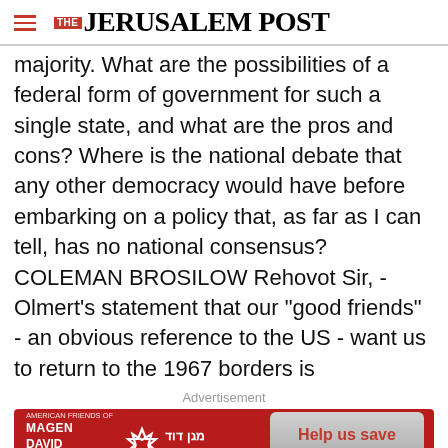THE JERUSALEM POST
majority. What are the possibilities of a federal form of government for such a single state, and what are the pros and cons? Where is the national debate that any other democracy would have before embarking on a policy that, as far as I can tell, has no national consensus? COLEMAN BROSILOW Rehovot Sir, - Olmert's statement that our "good friends" - an obvious reference to the US - want us to return to the 1967 borders is
Advertisement
[Figure (other): Magen David Adom advertisement banner with Star of David logo and 'Help us save lives in Israel' button]